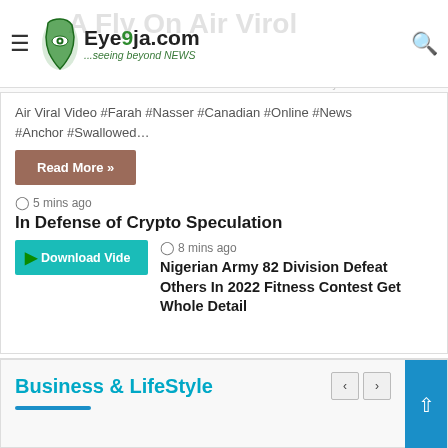Eye9ja.com — ...seeing beyond NEWS
Air Viral Video #Farah #Nasser #Canadian #Online #News #Anchor #Swallowed…
Read More »
5 mins ago
In Defense of Crypto Speculation
Download Video
8 mins ago
Nigerian Army 82 Division Defeat Others In 2022 Fitness Contest Get Whole Detail
Business & LifeStyle